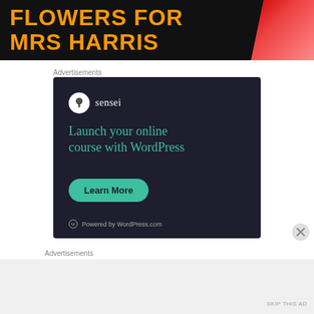[Figure (illustration): Top movie advertisement banner showing 'FLOWERS FOR MRS HARRIS' text in orange on black background with a woman in red dress on stairs]
Advertisements
[Figure (illustration): Sensei advertisement on dark navy background: sensei logo (tree icon), headline 'Launch your online course with WordPress', 'Learn More' teal button, 'Powered by WordPress.com' footer]
Advertisements
SKIP THIS AD